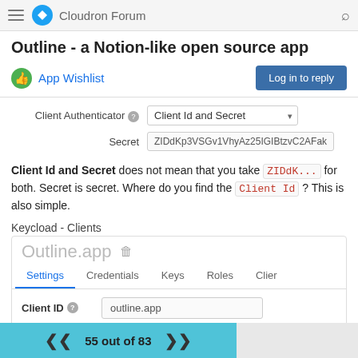Cloudron Forum
Outline - a Notion-like open source app
App Wishlist
[Figure (screenshot): Form fields showing Client Authenticator dropdown set to 'Client Id and Secret' and Secret field with value ZIDdKp3VSGv1VhyAz25IGIBtzvC2AFak]
Client Id and Secret does not mean that you take ZIDdK... for both. Secret is secret. Where do you find the Client Id ? This is also simple.
Keycload - Clients
[Figure (screenshot): Keycloak client settings screenshot showing Outline.app client with tabs: Settings, Credentials, Keys, Roles, Clier. Client ID field showing value 'outline.app']
Yes. It's the name.
55 out of 83